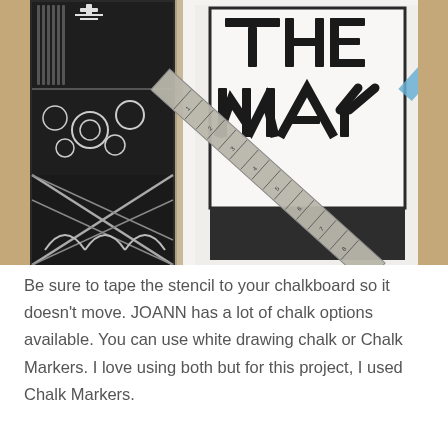[Figure (photo): A close-up photo showing a chalkboard sign with partial text 'THE WAY' in bold block letters, a metal ruler laid diagonally across it with blue painter's tape, and on the left a decorative black and white patterned stencil leaning against a wooden surface.]
Be sure to tape the stencil to your chalkboard so it doesn't move. JOANN has a lot of chalk options available. You can use white drawing chalk or Chalk Markers. I love using both but for this project, I used Chalk Markers.